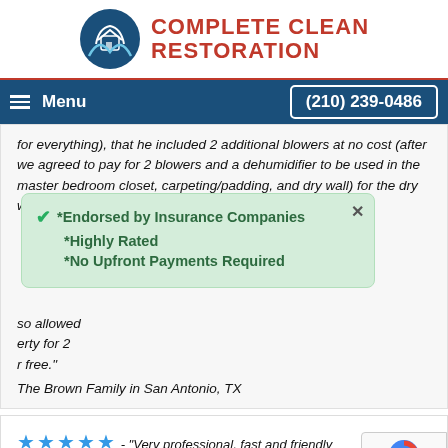[Figure (logo): Complete Clean Restoration logo with blue house/shield icon and red bold text]
Menu | (210) 239-0486
for everything), that he included 2 additional blowers at no cost (after we agreed to pay for 2 blowers and a dehumidifier to be used in the master bedroom closet, carpeting/padding, and dry wall) for the dry wall behind ... so allowed ...erty for 2 ...r free."
*Endorsed by Insurance Companies
*Highly Rated
*No Upfront Payments Required
The Brown Family in San Antonio, TX
★★★★★ - "Very professional, fast and friendly... will call them again and I do recommend them!! My...